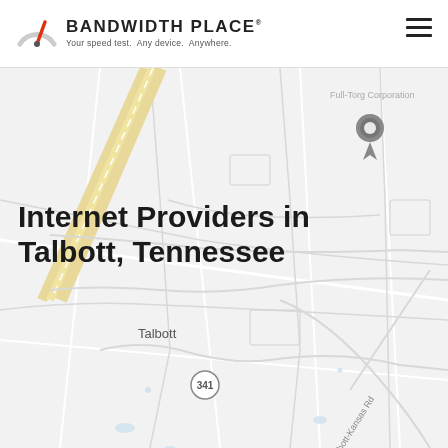[Figure (map): Google Maps style road map showing Talbott, Tennessee area with roads, a location pin marker, route 341 circle marker, Talbott-Kansas Rd label, and Full-Torg Corporation label. Map has light grey/white color scheme with beige/yellow road highlights.]
BANDWIDTH PLACE · Your speed test. Any device. Anywhere.
Internet Providers in Talbott, Tennessee
Talbott